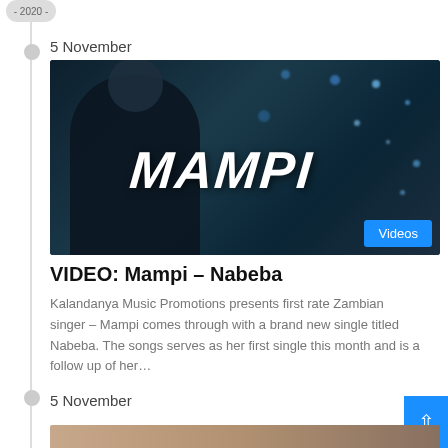- 2020 -
5 November
[Figure (photo): Music video thumbnail for Mampi – Nabeba. Dark blue teal background with sparkle bokeh lights. A female singer silhouette in a black outfit. Large white stylized 'MAMPI' text in the center. Blue 'Videos' badge in the bottom right corner.]
VIDEO: Mampi – Nabeba
Kalandanya Music Promotions presents first rate Zambian singer – Mampi comes through with a brand new single titled Nabeba. The songs serves as her first single this month and is a follow up of her…
5 November